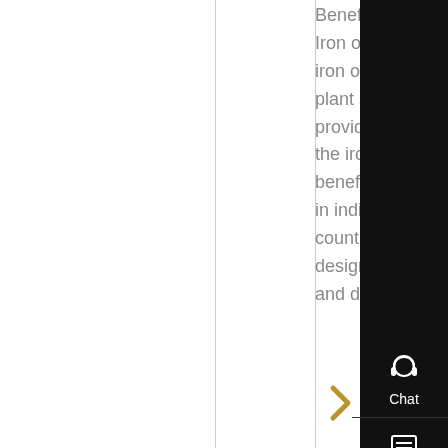Beneficiation Plant Iron ore beneficiation iron ore beneficiation plant supplier ore ase provides solutions for the iron ore beneficiation industry in india and foreign countrieshe process design includes wet and dry beneficiation
[Figure (other): Right sidebar with Chat, E-mail, Top, and close (x) icons on black background]